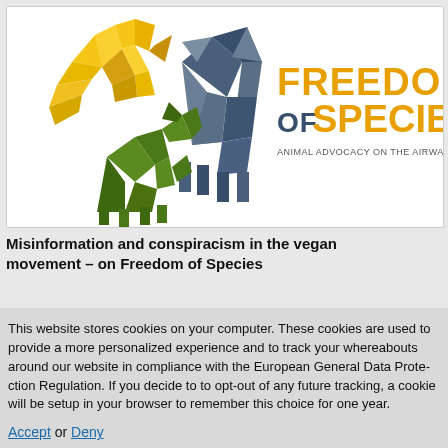[Figure (logo): Freedom of Species logo — geometric origami-style animals (bird, cow, dog) in gold, blue/grey, and green, with text 'FREEDOM OF SPECIES' in orange/dark blue and tagline 'ANIMAL ADVOCACY ON THE AIRWAVES – 3CR RADIO 855AM']
Misinformation and conspiracism in the vegan movement – on Freedom of Species
This website stores cookies on your computer. These cookies are used to provide a more personalized experience and to track your whereabouts around our website in compliance with the European General Data Protection Regulation. If you decide to to opt-out of any future tracking, a cookie will be setup in your browser to remember this choice for one year.
Accept or Deny